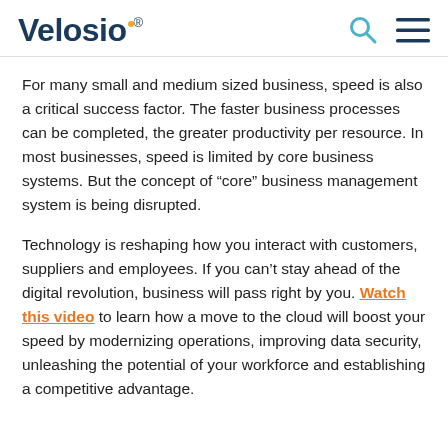Velosio
For many small and medium sized business, speed is also a critical success factor. The faster business processes can be completed, the greater productivity per resource. In most businesses, speed is limited by core business systems. But the concept of “core” business management system is being disrupted.
Technology is reshaping how you interact with customers, suppliers and employees. If you can’t stay ahead of the digital revolution, business will pass right by you. Watch this video to learn how a move to the cloud will boost your speed by modernizing operations, improving data security, unleashing the potential of your workforce and establishing a competitive advantage.